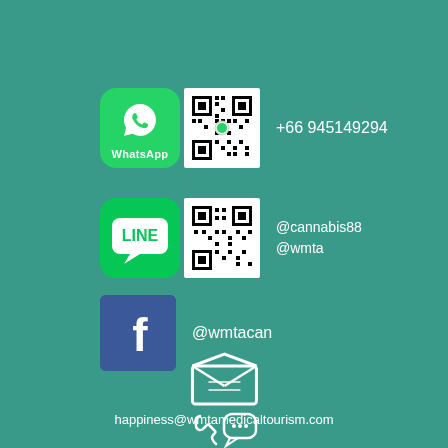[Figure (infographic): WhatsApp logo (green rounded square with phone handset icon) and QR code side by side]
+66 945149294
[Figure (infographic): LINE app logo (green rounded square with LINE speech bubble icon) and QR code side by side]
@cannabis88
@wmta
[Figure (logo): Facebook logo (blue rounded square with white f icon)]
@wmtacan
[Figure (illustration): Open envelope icon with lines suggesting a letter/email]
happiness@wmtamedicaltourism.com
[Figure (illustration): Phone/chat icon at bottom of page]